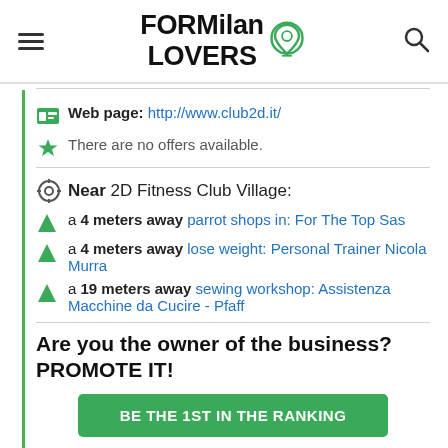FORMilanLOVERS
Web page: http://www.club2d.it/
There are no offers available.
Near 2D Fitness Club Village:
a 4 meters away parrot shops in: For The Top Sas
a 4 meters away lose weight: Personal Trainer Nicola Murra
a 19 meters away sewing workshop: Assistenza Macchine da Cucire - Pfaff
Are you the owner of the business? PROMOTE IT!
BE THE 1ST IN THE RANKING